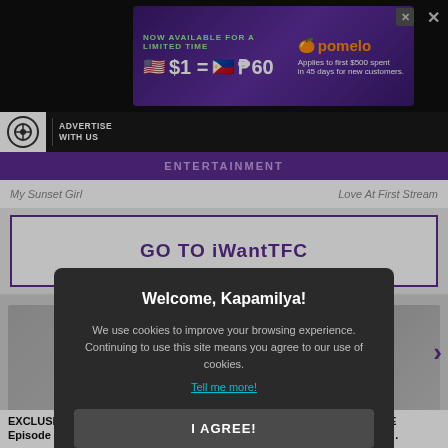[Figure (screenshot): Pomelo ad banner: NOW AVAILABLE FOR A LIMITED TIME $1 = ₱60 Applies to first $500 spent in 45 days for new customers.]
[Figure (logo): ABS-CBN logo with ADVERTISE WITH US text]
ENTERTAINMENT
My Sunset Girl
Love At First Stream
GO TO iWantTFC
[Figure (screenshot): Cookie consent modal: Welcome, Kapamilya! We use cookies to improve your browsing experience. Continuing to use this site means you agree to our use of cookies. Tell me more! I AGREE!]
EXCLUSIVE INTERVIEW with Jane De Leon | Hotspot 2022 Episode 2037
EXCLUSIVE Gomez | H…